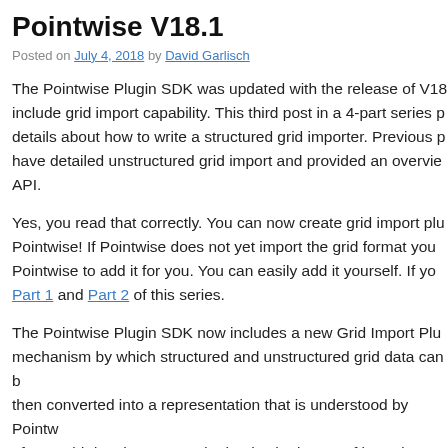Pointwise V18.1
Posted on July 4, 2018 by David Garlisch
The Pointwise Plugin SDK was updated with the release of V18 to include grid import capability. This third post in a 4-part series provides details about how to write a structured grid importer. Previous posts have detailed unstructured grid import and provided an overview of the API.
Yes, you read that correctly. You can now create grid import plugins for Pointwise! If Pointwise does not yet import the grid format you need, ask Pointwise to add it for you. You can easily add it yourself. If you ... Part 1 and Part 2 of this series.
The Pointwise Plugin SDK now includes a new Grid Import Plugin mechanism by which structured and unstructured grid data can be then converted into a representation that is understood by Pointwise. of raw grid data is supported. That is, the import of boundary co not yet supported. The addition of BC and VC support in future